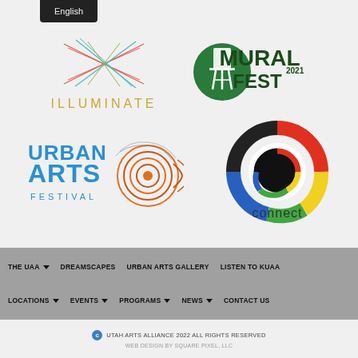[Figure (logo): English language selector button, dark background]
[Figure (logo): ILLUMINATE logo with geometric intersecting colored lines above stylized text]
[Figure (logo): MURAL FEST 2021 logo with green water tower icon]
[Figure (logo): URBAN ARTS FESTIVAL logo with blue graffiti-style text and circular target graphic]
[Figure (logo): connect logo with colorful C-shaped arc and black circle center]
THE UAA  DREAMSCAPES  URBAN ARTS GALLERY  LISTEN TO KUAA  LOCATIONS  EVENTS  PROGRAMS  NEWS  CONTACT US
© UTAH ARTS ALLIANCE 2022 ALL RIGHTS RESERVED
WEB DESIGN BY SQUARE PIXEL, LLC